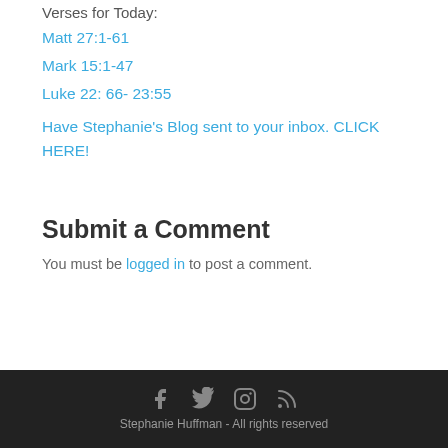Verses for Today:
Matt 27:1-61
Mark 15:1-47
Luke 22: 66- 23:55
Have Stephanie's Blog sent to your inbox. CLICK HERE!
Submit a Comment
You must be logged in to post a comment.
Stephanie Huffman - All rights reserved